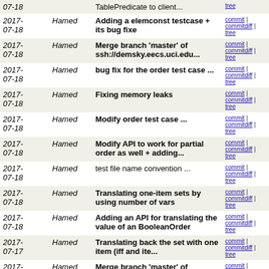| Date | Author | Message | Links |
| --- | --- | --- | --- |
| 2017-07-18 | Hamed | TablePredicate to client... | commit | commitdiff | tree |
| 2017-07-18 | Hamed | Adding a elemconst testcase + its bug fixe | commit | commitdiff | tree |
| 2017-07-18 | Hamed | Merge branch 'master' of ssh://demsky.eecs.uci.edu... | commit | commitdiff | tree |
| 2017-07-18 | Hamed | bug fix for the order test case ... | commit | commitdiff | tree |
| 2017-07-18 | Hamed | Fixing memory leaks | commit | commitdiff | tree |
| 2017-07-18 | Hamed | Modify order test case ... | commit | commitdiff | tree |
| 2017-07-18 | Hamed | Modify API to work for partial order as well + adding... | commit | commitdiff | tree |
| 2017-07-18 | Hamed | test file name convention ... | commit | commitdiff | tree |
| 2017-07-18 | Hamed | Translating one-item sets by using number of vars | commit | commitdiff | tree |
| 2017-07-18 | Hamed | Adding an API for translating the value of an BooleanOrder | commit | commitdiff | tree |
| 2017-07-17 | Hamed | Translating back the set with one item (iff and ite... | commit | commitdiff | tree |
| 2017-07-17 | Hamed | Merge branch 'master' of ssh://demsky.eecs.uci.edu... | commit | commitdiff | tree |
| 2017-07-17 | Hamed | Add some printings for debugging ... | commit | commitdiff | tree |
| 2017-07-14 | Hamed | Getting some bugs fixed ... | commit | commitdiff | tree |